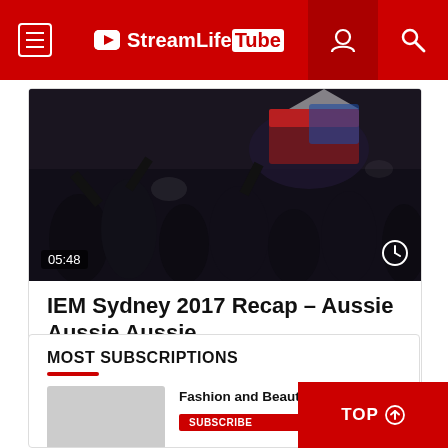StreamLifeTube
[Figure (screenshot): Video thumbnail showing a crowd at IEM Sydney 2017 event with flags and people, dark atmosphere. Timestamp 05:48 shown at bottom left.]
IEM Sydney 2017 Recap – Aussie Aussie Aussie
MAXSHREDDER  996
[Figure (other): Carousel pagination dots: 5 dots, first one red (active), rest grey]
MOST SUBSCRIPTIONS
Fashion and Beauty Stree...